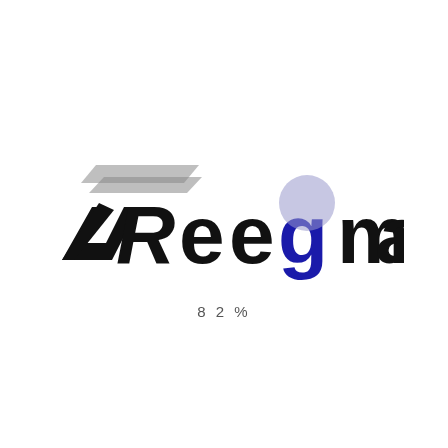[Figure (logo): Reegma company logo with stylized R lettermark in black and grey on the left, followed by text 'Reegma' where the first R has a grey wing/slash accent on top and the letter g is rendered in blue with a circular design.]
82%